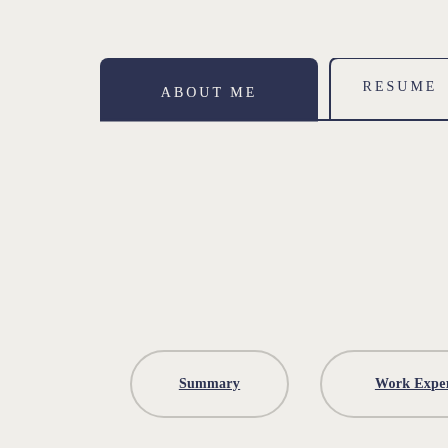ABOUT ME
RESUME
Summary
Work Experience